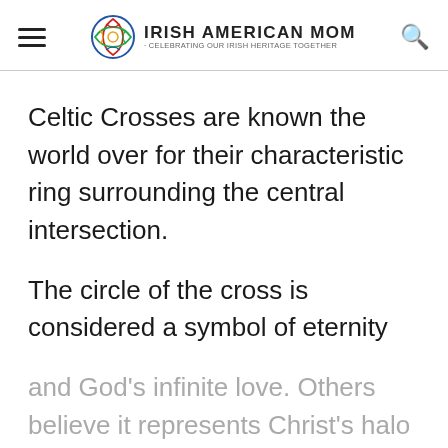Irish American Mom - Celebrating Our Irish Heritage Together
Celtic Crosses are known the world over for their characteristic ring surrounding the central intersection.
The circle of the cross is considered a symbol of eternity and God’s infinite love. Others believe it represents Christ’s halo